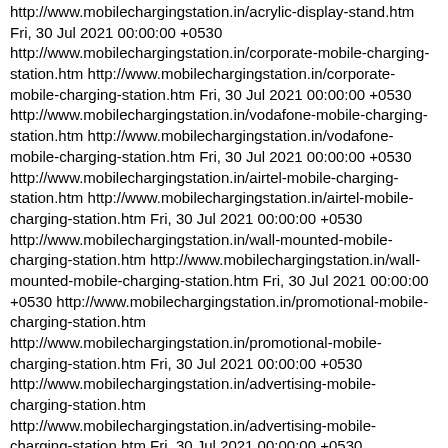http://www.mobilechargingstation.in/acrylic-display-stand.htm Fri, 30 Jul 2021 00:00:00 +0530 http://www.mobilechargingstation.in/corporate-mobile-charging-station.htm http://www.mobilechargingstation.in/corporate-mobile-charging-station.htm Fri, 30 Jul 2021 00:00:00 +0530 http://www.mobilechargingstation.in/vodafone-mobile-charging-station.htm http://www.mobilechargingstation.in/vodafone-mobile-charging-station.htm Fri, 30 Jul 2021 00:00:00 +0530 http://www.mobilechargingstation.in/airtel-mobile-charging-station.htm http://www.mobilechargingstation.in/airtel-mobile-charging-station.htm Fri, 30 Jul 2021 00:00:00 +0530 http://www.mobilechargingstation.in/wall-mounted-mobile-charging-station.htm http://www.mobilechargingstation.in/wall-mounted-mobile-charging-station.htm Fri, 30 Jul 2021 00:00:00 +0530 http://www.mobilechargingstation.in/promotional-mobile-charging-station.htm http://www.mobilechargingstation.in/promotional-mobile-charging-station.htm Fri, 30 Jul 2021 00:00:00 +0530 http://www.mobilechargingstation.in/advertising-mobile-charging-station.htm http://www.mobilechargingstation.in/advertising-mobile-charging-station.htm Fri, 30 Jul 2021 00:00:00 +0530 http://www.mobilechargingstation.in/acrylic-advertising-board.htm http://www.mobilechargingstation.in/acrylic-advertising-board.htm Fri, 30 Jul 2021 00:00:00 +0530 We are occupied in best offering wide array of Acrylic Sign Board, which is made by talented professionals by utilizing the best raw materials and